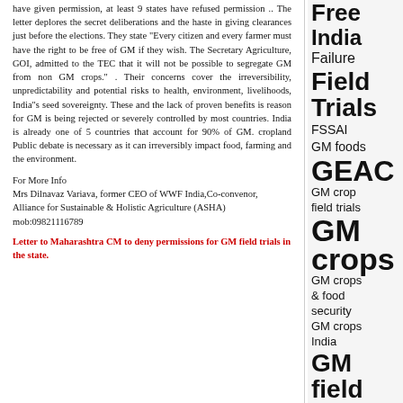have given permission, at least 9 states have refused permission .. The letter deplores the secret deliberations and the haste in giving clearances just before the elections. They state "Every citizen and every farmer must have the right to be free of GM if they wish. The Secretary Agriculture, GOI, admitted to the TEC that it will not be possible to segregate GM from non GM crops." . Their concerns cover the irreversibility, unpredictability and potential risks to health, environment, livelihoods, India's seed sovereignty. These and the lack of proven benefits is reason for GM is being rejected or severely controlled by most countries. India is already one of 5 countries that account for 90% of GM. cropland Public debate is necessary as it can irreversibly impact food, farming and the environment.
For More Info
Mrs Dilnavaz Variava, former CEO of WWF India,Co-convenor, Alliance for Sustainable & Holistic Agriculture (ASHA)
mob:09821116789
Letter to Maharashtra CM to deny permissions for GM field trials in the state.
Free India Failure Field Trials FSSAI GM foods GEAC GM crop field trials GM crops GM crops & food security GM crops India GM field